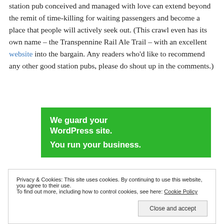station pub conceived and managed with love can extend beyond the remit of time-killing for waiting passengers and become a place that people will actively seek out. (This crawl even has its own name – the Transpennine Rail Ale Trail – with an excellent website into the bargain. Any readers who'd like to recommend any other good station pubs, please do shout up in the comments.)
[Figure (infographic): Green advertisement banner with white bold text: 'We guard your WordPress site. You run your business.']
Privacy & Cookies: This site uses cookies. By continuing to use this website, you agree to their use. To find out more, including how to control cookies, see here: Cookie Policy